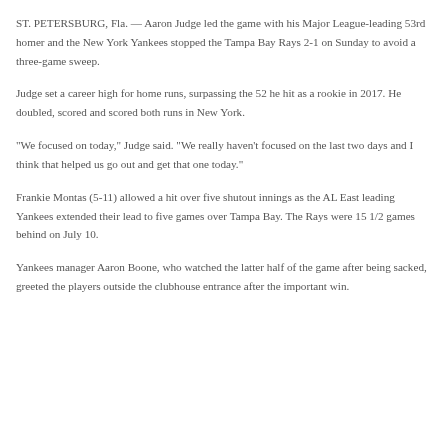ST. PETERSBURG, Fla. — Aaron Judge led the game with his Major League-leading 53rd homer and the New York Yankees stopped the Tampa Bay Rays 2-1 on Sunday to avoid a three-game sweep.
Judge set a career high for home runs, surpassing the 52 he hit as a rookie in 2017. He doubled, scored and scored both runs in New York.
“We focused on today,” Judge said. “We really haven’t focused on the last two days and I think that helped us go out and get that one today.”
Frankie Montas (5-11) allowed a hit over five shutout innings as the AL East leading Yankees extended their lead to five games over Tampa Bay. The Rays were 15 1/2 games behind on July 10.
Yankees manager Aaron Boone, who watched the latter half of the game after being sacked, greeted the players outside the clubhouse entrance after the important win.